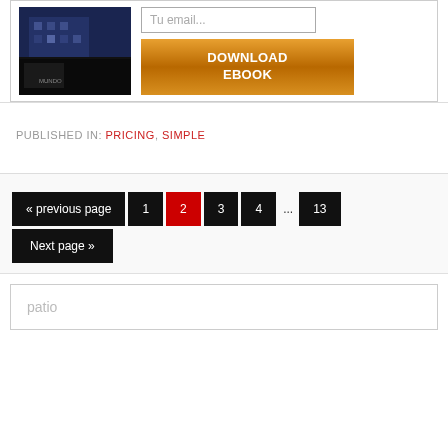[Figure (photo): Building exterior photo with dark blue night lighting, showing a modern architectural facade]
Tu email...
DOWNLOAD EBOOK
PUBLISHED IN: PRICING, SIMPLE
« previous page  1  2  3  4  ...  13  Next page »
patio